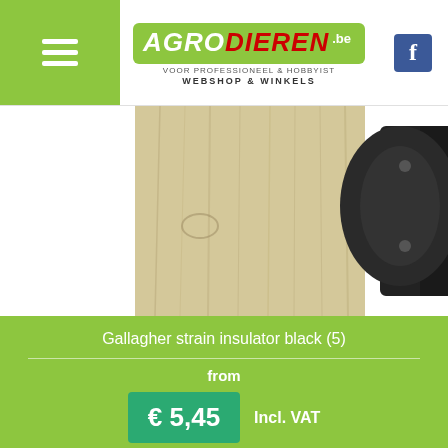Agrodieren.be - VOOR PROFESSIONEEL & HOBBYIST - WEBSHOP & WINKELS
[Figure (photo): Product photo showing a wooden post and a black strain insulator on white background]
Gallagher strain insulator black (5)
from
€ 5,45  Incl. VAT
catalog price: -
[Figure (photo): Close-up photo of a black insulator clamp attached to a wooden post with electric fence tape below]